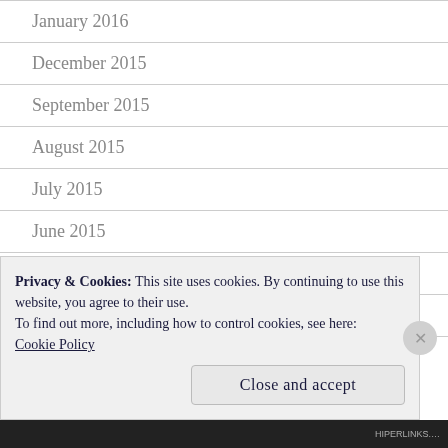January 2016
December 2015
September 2015
August 2015
July 2015
June 2015
May 2015
April 2015
Privacy & Cookies: This site uses cookies. By continuing to use this website, you agree to their use.
To find out more, including how to control cookies, see here: Cookie Policy